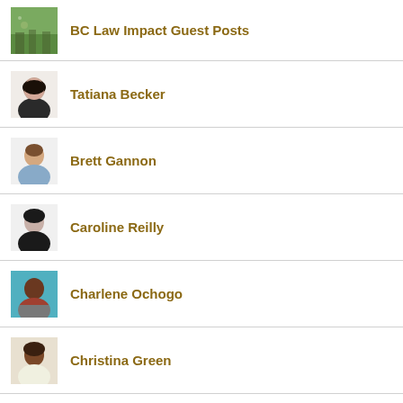BC Law Impact Guest Posts
Tatiana Becker
Brett Gannon
Caroline Reilly
Charlene Ochogo
Christina Green